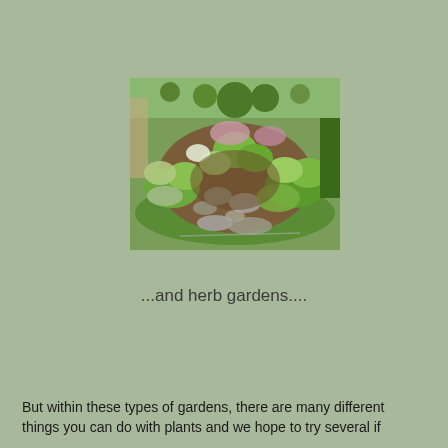[Figure (photo): Aerial view of a lush herb garden with stone stepping paths winding through various green plants and flowering herbs, bordered by green lawn]
...and herb gardens....
But within these types of gardens, there are many different things you can do with plants and we hope to try several if...